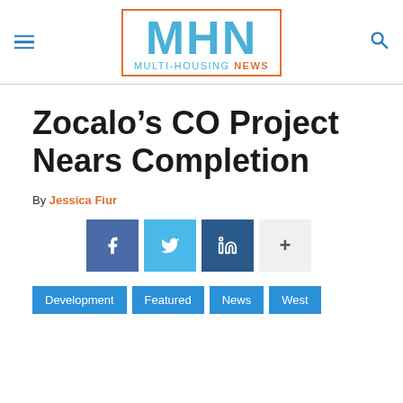MHN MULTI-HOUSING NEWS
Zocalo’s CO Project Nears Completion
By Jessica Fiur
[Figure (infographic): Social share buttons: Facebook, Twitter, LinkedIn, and a plus/more button]
Development  Featured  News  West